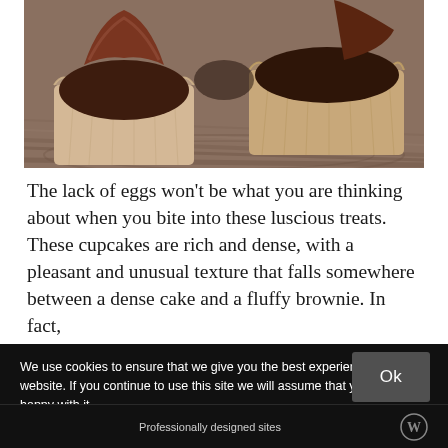[Figure (photo): Close-up photo of chocolate cupcakes in paper liners on a wooden surface, with chocolate frosting visible on top]
The lack of eggs won't be what you are thinking about when you bite into these luscious treats. These cupcakes are rich and dense, with a pleasant and unusual texture that falls somewhere between a dense cake and a fluffy brownie. In fact,
We use cookies to ensure that we give you the best experience on our website. If you continue to use this site we will assume that you are happy with it.
Privacy Policy
Ok
Professionally designed sites